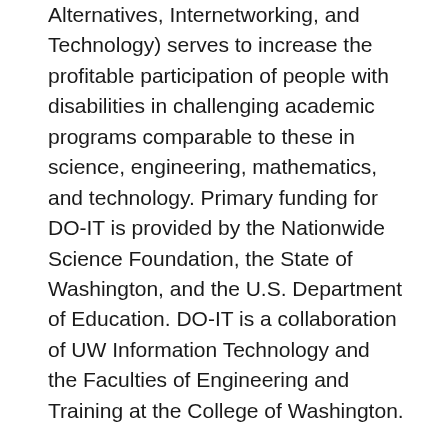Alternatives, Internetworking, and Technology) serves to increase the profitable participation of people with disabilities in challenging academic programs comparable to these in science, engineering, mathematics, and technology. Primary funding for DO-IT is provided by the Nationwide Science Foundation, the State of Washington, and the U.S. Department of Education. DO-IT is a collaboration of UW Information Technology and the Faculties of Engineering and Training at the College of Washington.
Started by a gaggle of engineers that left Digital Equipment Company (DEC), Data General designs the Nova minicomputer. It had 32 KB of memory and offered for $8,000. Ed de Castro, its foremost designer and co-founder of Information Basic, had earlier led the group that created the DEC PDP-eight. The Nova line of